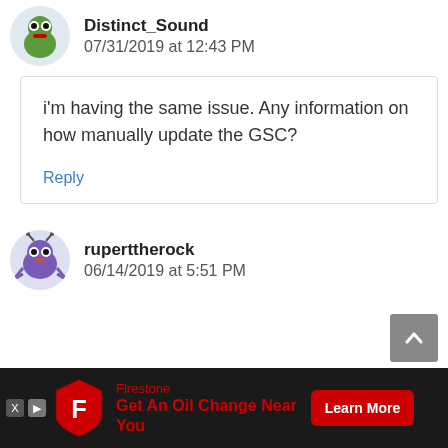Distinct_Sound
07/31/2019 at 12:43 PM
i'm having the same issue. Any information on how manually update the GSC?
Reply
ruperttherock
06/14/2019 at 5:51 PM
[Figure (infographic): Firestone advertisement bar: red shield logo with F, text 'Get An Oil Change Near You', red 'Learn More' button, dark background.]